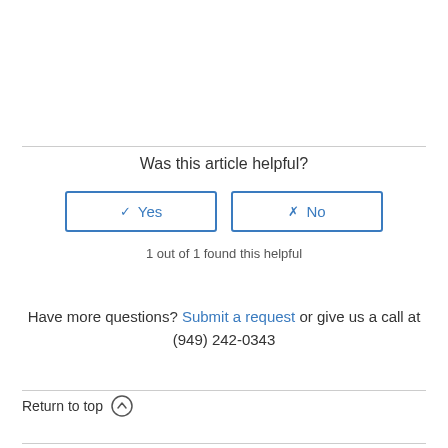Was this article helpful?
✓ Yes   ✗ No
1 out of 1 found this helpful
Have more questions? Submit a request or give us a call at (949) 242-0343
Return to top ↑